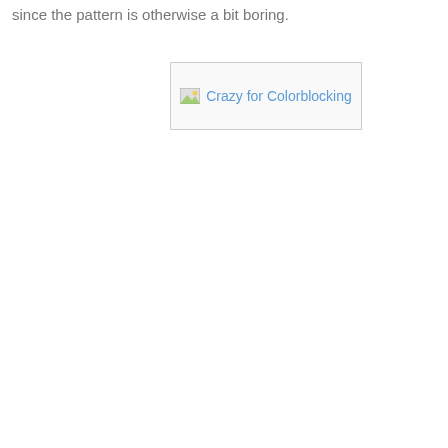since the pattern is otherwise a bit boring.
[Figure (other): Broken image placeholder with alt text 'Crazy for Colorblocking']